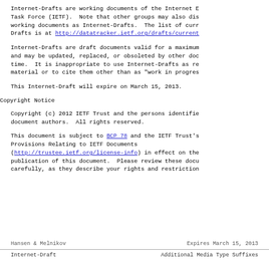Internet-Drafts are working documents of the Internet E Task Force (IETF).  Note that other groups may also dis working documents as Internet-Drafts.  The list of curr Drafts is at http://datatracker.ietf.org/drafts/current
Internet-Drafts are draft documents valid for a maximum and may be updated, replaced, or obsoleted by other doc time.  It is inappropriate to use Internet-Drafts as re material or to cite them other than as "work in progres
This Internet-Draft will expire on March 15, 2013.
Copyright Notice
Copyright (c) 2012 IETF Trust and the persons identifie document authors.  All rights reserved.
This document is subject to BCP 78 and the IETF Trust's Provisions Relating to IETF Documents (http://trustee.ietf.org/license-info) in effect on the publication of this document.  Please review these docu carefully, as they describe your rights and restriction
Hansen & Melnikov          Expires March 15, 2013
Internet-Draft       Additional Media Type Suffixes